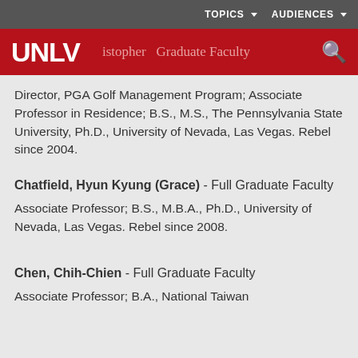TOPICS   AUDIENCES
UNLV  ...istopher  Graduate Faculty
Director, PGA Golf Management Program; Associate Professor in Residence; B.S., M.S., The Pennsylvania State University, Ph.D., University of Nevada, Las Vegas. Rebel since 2004.
Chatfield, Hyun Kyung (Grace) - Full Graduate Faculty
Associate Professor; B.S., M.B.A., Ph.D., University of Nevada, Las Vegas. Rebel since 2008.
Chen, Chih-Chien - Full Graduate Faculty
Associate Professor; B.A., National Taiwan...